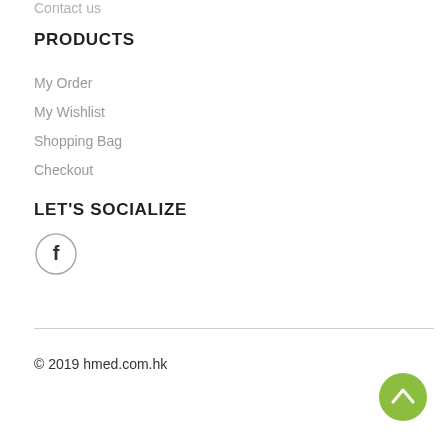Contact us
PRODUCTS
My Order
My Wishlist
Shopping Bag
Checkout
LET'S SOCIALIZE
[Figure (other): Facebook social media icon — circle with letter f inside]
© 2019 hmed.com.hk
[Figure (other): Scroll-to-top button — green circle with upward chevron arrow]